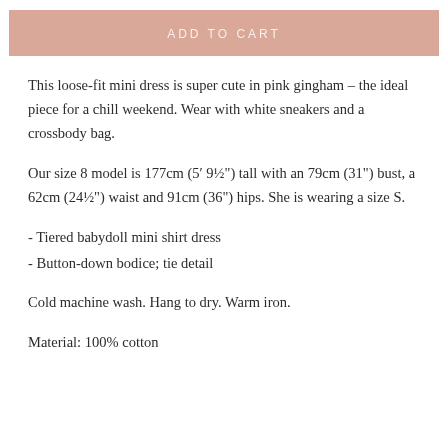ADD TO CART
This loose-fit mini dress is super cute in pink gingham – the ideal piece for a chill weekend. Wear with white sneakers and a crossbody bag.
Our size 8 model is 177cm (5' 9½") tall with an 79cm (31") bust, a 62cm (24½") waist and 91cm (36") hips. She is wearing a size S.
- Tiered babydoll mini shirt dress
- Button-down bodice; tie detail
Cold machine wash. Hang to dry. Warm iron.
Material: 100% cotton